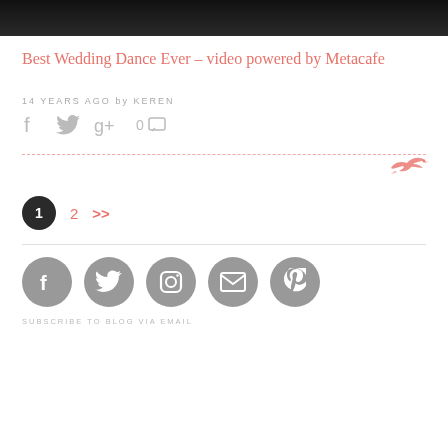[Figure (photo): Dark/black cropped photo at top of page, partial image visible]
Best Wedding Dance Ever – video powered by Metacafe
14 YEARS AGO by KEREN
Social share icons: Facebook, Twitter, Google+, and comment count 0
[Figure (illustration): Small salmon/coral colored bird illustration sitting on the dashed divider line]
Pagination: 1 (current), 2, >>
[Figure (infographic): Row of grey circular social media buttons: Facebook, Twitter, Instagram, Email/envelope, Pinterest]
SUBSCRIBE TO BLOG VIA EMAIL